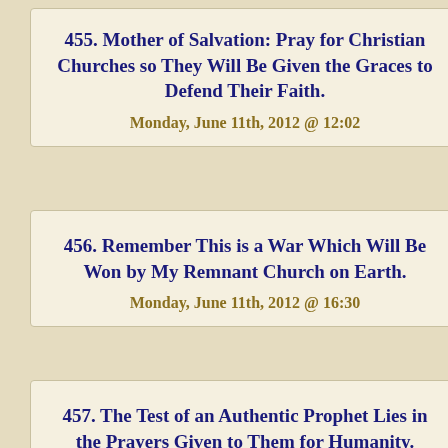455. Mother of Salvation: Pray for Christian Churches so They Will Be Given the Graces to Defend Their Faith.
Monday, June 11th, 2012 @ 12:02
456. Remember This is a War Which Will Be Won by My Remnant Church on Earth.
Monday, June 11th, 2012 @ 16:30
457. The Test of an Authentic Prophet Lies in the Prayers Given to Them for Humanity.